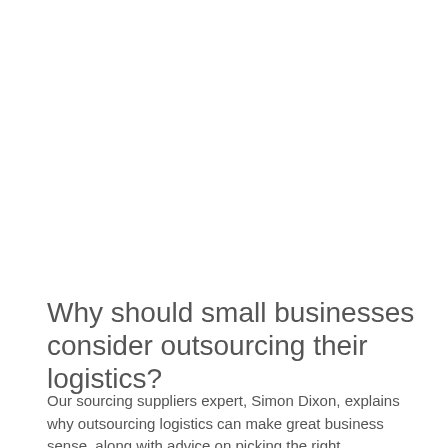Why should small businesses consider outsourcing their logistics?
Our sourcing suppliers expert, Simon Dixon, explains why outsourcing logistics can make great business sense, along with advice on picking the right